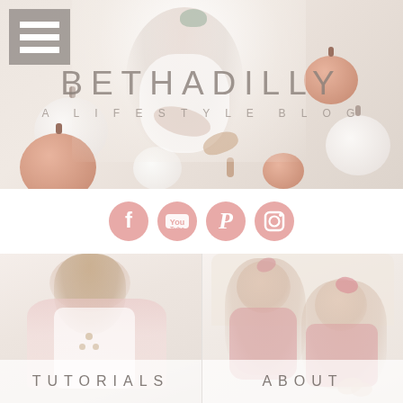[Figure (photo): Hero banner with child playing with pumpkins overhead shot, blog title BETHADILLY A LIFESTYLE BLOG overlaid, hamburger menu icon top left]
[Figure (infographic): Social media icons row: Facebook, YouTube, Pinterest, Instagram in pink/rose color]
[Figure (photo): Two-column grid: left cell shows close-up of child in pink top labeled TUTORIALS, right cell shows two babies/toddlers on couch labeled ABOUT]